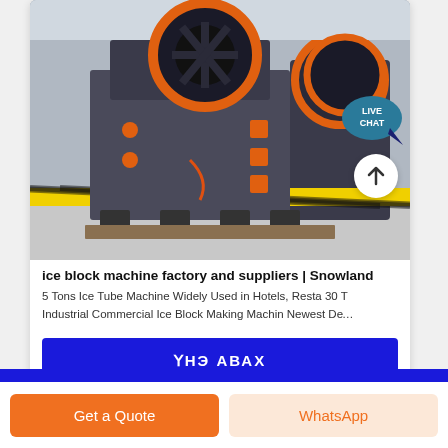[Figure (photo): Industrial jaw crusher machine with orange flywheel on display floor. Yellow-black caution tape visible at base. Similar machines in background. LIVE CHAT bubble in top right corner.]
ice block machine factory and suppliers | Snowland
5 Tons Ice Tube Machine Widely Used in Hotels, Resta 30 T Industrial Commercial Ice Block Making Machin Newest De...
ҮНЭ АВАХ
Get a Quote
WhatsApp